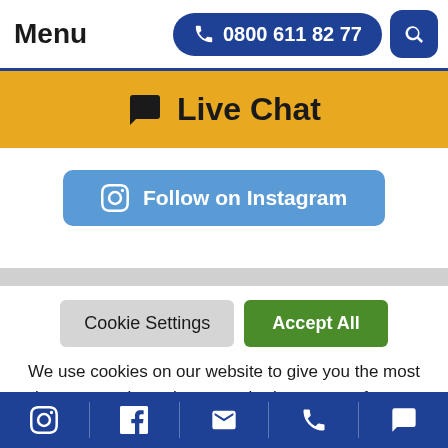Menu  0800 611 82 77
Live Chat
Follow on Instagram
Cookie Settings  Accept All
We use cookies on our website to give you the most relevant experience by remembering your preferences and repeat visits. By clicking “Accept All”, you consent to the use of ALL the cookies. However, you may visit
Instagram  Facebook  Email  Phone  Chat